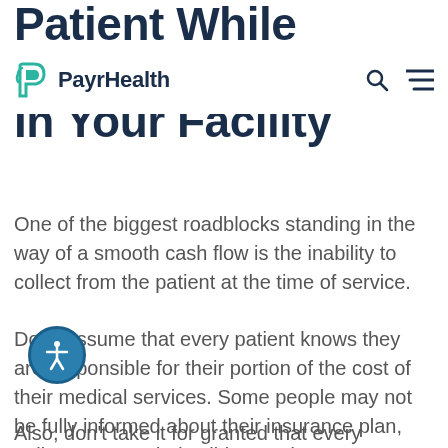PayrHealth
Patient While They're In Your Facility
One of the biggest roadblocks standing in the way of a smooth cash flow is the inability to collect from the patient at the time of service.
Don't assume that every patient knows they are responsible for their portion of the cost of their medical services. Some people may not be fully informed about their insurance plan, policy, copays, deductibles, and so on.
Also, don't take it for granted that every